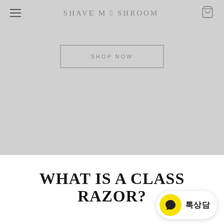SHAVE MUSHROOM
[Figure (screenshot): Hero banner with light gray background and SHOP NOW button with border]
WHAT IS A CLASSIC RAZOR?
[Figure (other): Yellow circular chat bubble button with speech icon and Korean text 톡상담]